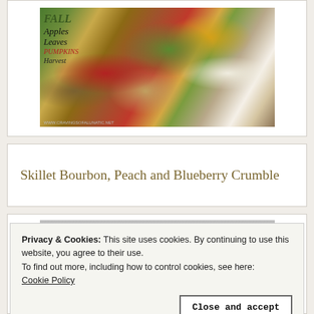[Figure (photo): Autumn harvest display with colorful gourds, apples, Indian corn, leaves, and a decorative sign reading FALL Apples Leaves Pumpkins Harvest]
Skillet Bourbon, Peach and Blueberry Crumble
[Figure (photo): Partially visible photo below the Skillet Bourbon Crumble heading, blurred/cropped]
Privacy & Cookies: This site uses cookies. By continuing to use this website, you agree to their use.
To find out more, including how to control cookies, see here: Cookie Policy
Close and accept